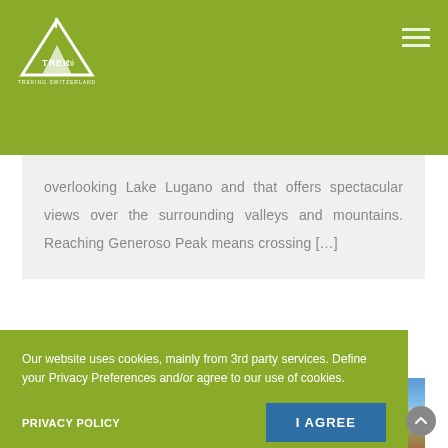[Figure (logo): Trek Ni logo - mountain/triangle shape in white on green background]
overlooking Lake Lugano and that offers spectacular views over the surrounding valleys and mountains. Reaching Generoso Peak means crossing […]
[Figure (photo): Mountain landscape photo with blue sky and rocky terrain]
Our website uses cookies, mainly from 3rd party services. Define your Privacy Preferences and/or agree to our use of cookies.
PRIVACY POLICY
I AGREE